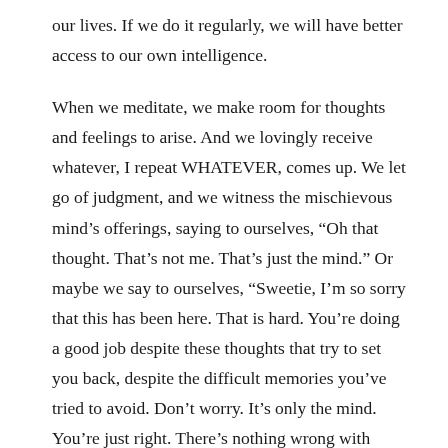our lives. If we do it regularly, we will have better access to our own intelligence.
When we meditate, we make room for thoughts and feelings to arise. And we lovingly receive whatever, I repeat WHATEVER, comes up. We let go of judgment, and we witness the mischievous mind's offerings, saying to ourselves, “Oh that thought. That’s not me. That’s just the mind.” Or maybe we say to ourselves, “Sweetie, I’m so sorry that this has been here. That is hard. You’re doing a good job despite these thoughts that try to set you back, despite the difficult memories you’ve tried to avoid. Don’t worry. It’s only the mind. You’re just right. There’s nothing wrong with you.”